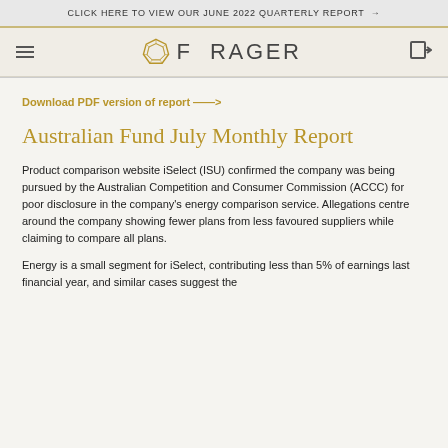CLICK HERE TO VIEW OUR JUNE 2022 QUARTERLY REPORT →
[Figure (logo): Forager logo with geometric diamond/globe icon and text FORAGER]
Download PDF version of report ——>
Australian Fund July Monthly Report
Product comparison website iSelect (ISU) confirmed the company was being pursued by the Australian Competition and Consumer Commission (ACCC) for poor disclosure in the company's energy comparison service. Allegations centre around the company showing fewer plans from less favoured suppliers while claiming to compare all plans.
Energy is a small segment for iSelect, contributing less than 5% of earnings last financial year, and similar cases suggest the